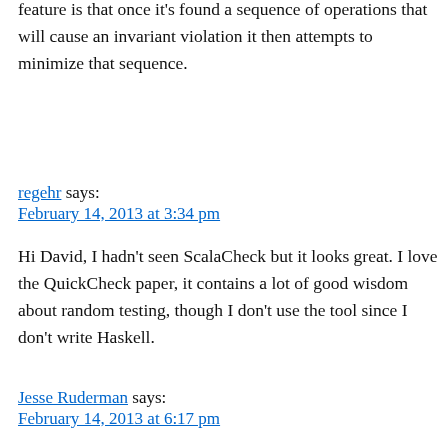feature is that once it's found a sequence of operations that will cause an invariant violation it then attempts to minimize that sequence.
regehr says:
February 14, 2013 at 3:34 pm
Hi David, I hadn't seen ScalaCheck but it looks great. I love the QuickCheck paper, it contains a lot of good wisdom about random testing, though I don't use the tool since I don't write Haskell.
Jesse Ruderman says:
February 14, 2013 at 6:17 pm